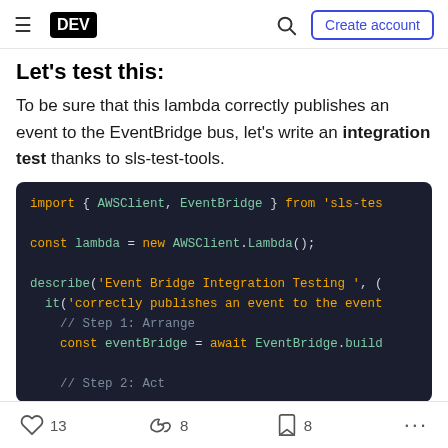DEV | Create account
Let's test this:
To be sure that this lambda correctly publishes an event to the EventBridge bus, let's write an integration test thanks to sls-test-tools.
[Figure (screenshot): Code block showing JavaScript integration test using AWSClient and EventBridge from sls-test-tools, with describe/it blocks and Step 1: Arrange, Step 2: Act comments]
13 likes  8 reactions  8 bookmarks